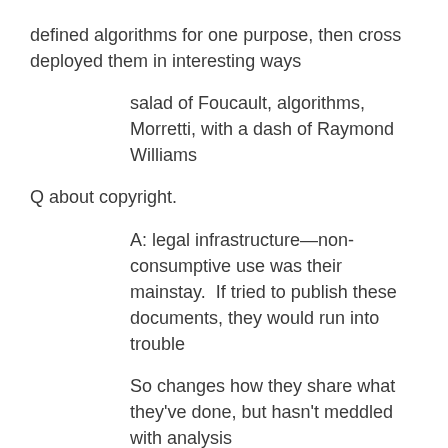defined algorithms for one purpose, then cross deployed them in interesting ways
salad of Foucault, algorithms, Morretti, with a dash of Raymond Williams
Q about copyright.
A: legal infrastructure—non-consumptive use was their mainstay.  If tried to publish these documents, they would run into trouble
So changes how they share what they've done, but hasn't meddled with analysis
Took four months to negotiate MOU (memorandum of understanding)
Knows there is a kernel of authorship we can't understand, so if can calculate surface area, then need understand the